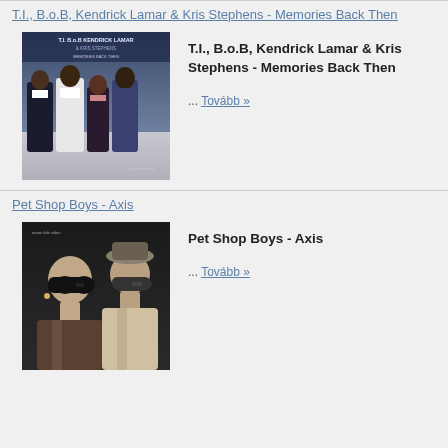T.I., B.o.B, Kendrick Lamar & Kris Stephens - Memories Back Then
[Figure (photo): Album/music video cover art for T.I., B.o.B, Kendrick Lamar & Kris Stephens - Memories Back Then, showing four artists standing together]
T.I., B.o.B, Kendrick Lamar & Kris Stephens - Memories Back Then
... Tovább »
Pet Shop Boys - Axis
[Figure (photo): Album/music video cover art for Pet Shop Boys - Axis, showing two performers in sunglasses]
Pet Shop Boys - Axis
... Tovább »